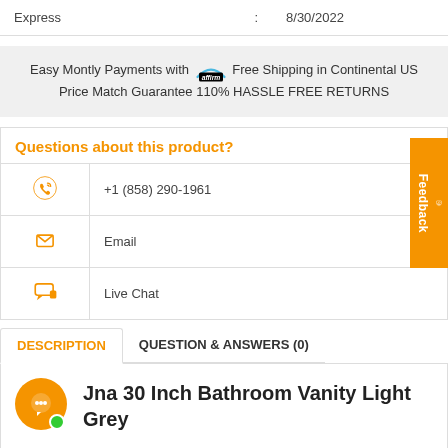|  | : |  |
| --- | --- | --- |
| Express | : | 8/30/2022 |
Easy Montly Payments with affirm Free Shipping in Continental US Price Match Guarantee 110% HASSLE FREE RETURNS
Questions about this product?
| icon | contact |
| --- | --- |
| +1 (858) 290-1961 |
| Email |
| Live Chat |
Feedback
DESCRIPTION
QUESTION & ANSWERS (0)
Jna 30 Inch Bathroom Vanity Light Grey